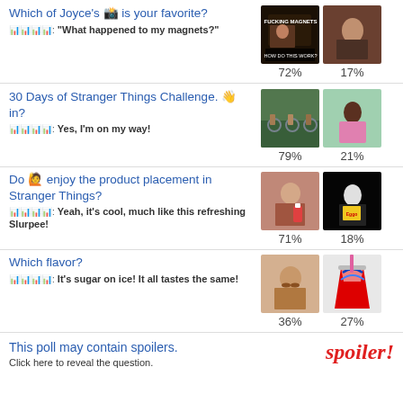Which of Joyce's [emoji] is your favorite? [emoji]: "What happened to my magnets?"
30 Days of Stranger Things Challenge. [emoji] in? [emoji]: Yes, I'm on my way!
Do [emoji] enjoy the product placement in Stranger Things? [emoji]: Yeah, it's cool, much like this refreshing Slurpee!
Which flavor? [emoji]: It's sugar on ice! It all tastes the same!
This poll may contain spoilers. Click here to reveal the question.